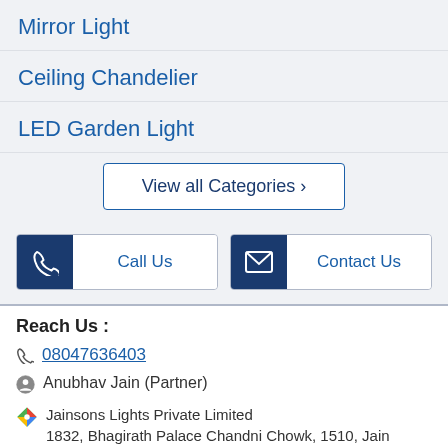Mirror Light
Ceiling Chandelier
LED Garden Light
View all Categories ›
Call Us
Contact Us
Reach Us :
08047636403
Anubhav Jain (Partner)
Jainsons Lights Private Limited
1832, Bhagirath Palace Chandni Chowk, 1510, Jain
Kishen Ram Building 2nd Floor Kath Malone